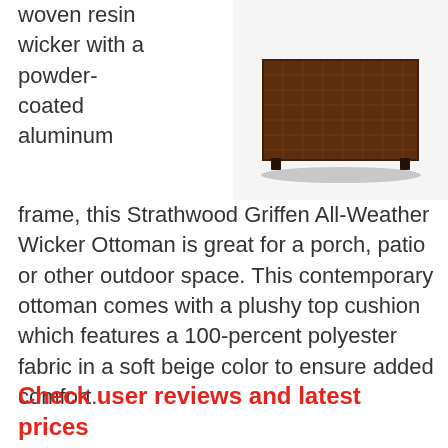[Figure (photo): Brown woven resin wicker ottoman with powder-coated aluminum frame, square shape, viewed from above at an angle]
woven resin wicker with a powder-coated aluminum frame, this Strathwood Griffen All-Weather Wicker Ottoman is great for a porch, patio or other outdoor space. This contemporary ottoman comes with a plushy top cushion which features a 100-percent polyester fabric in a soft beige color to ensure added comfort.
Check user reviews and latest prices